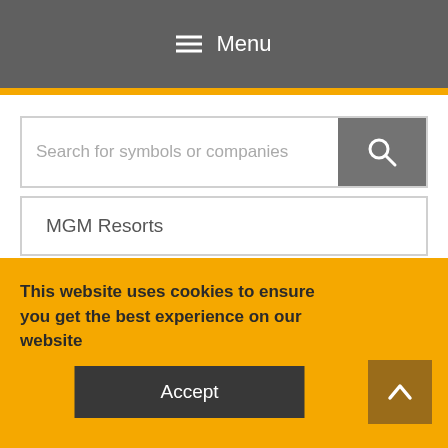≡ Menu
Search for symbols or companies
MGM Resorts
This website uses cookies to ensure you get the best experience on our website
Accept